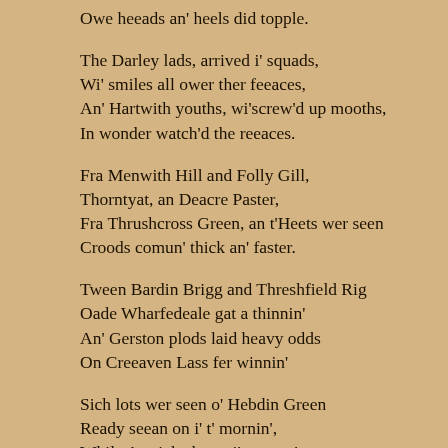Owe heeads an' heels did topple.
The Darley lads, arrived i' squads,
Wi' smiles all ower ther feeaces,
An' Hartwith youths, wi'screw'd up mooths,
In wonder watch'd the reeaces.
Fra Menwith Hill and Folly Gill,
Thorntyat, an Deacre Paster,
Fra Thrushcross Green, an t'Heets wer seen
Croods comun' thick an' faster.
Tween Bardin Brigg and Threshfield Rig
Oade Wharfedeale gat a thinnin'
An' Gerston plods laid heavy odds
On Creeaven Lass fer winnin'
Sich lots wer seen o' Hebdin Green
Ready seean on i' t' mornin',
While Aptrick chaps, i'carts an' traps,
Wer off ta Patela spernin.
All Greenho' Hill, past Coadsteeanes kill,
Com taltherin' an' singin'
Harcastle coves, like sheep i' droves,